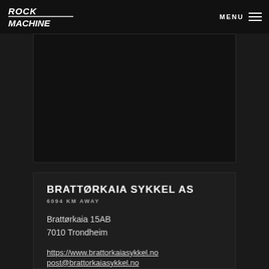Rock Machine — MENU
[Figure (photo): Dark/black image area, partially visible bicycle or product photo with very low exposure]
BRATTØRKAIA SYKKEL AS
6094 KM AWAY
Brattørkaia 15AB
7010 Trondheim
https://www.brattorkaiasykkel.no
post@brattorkaiasykkel.no